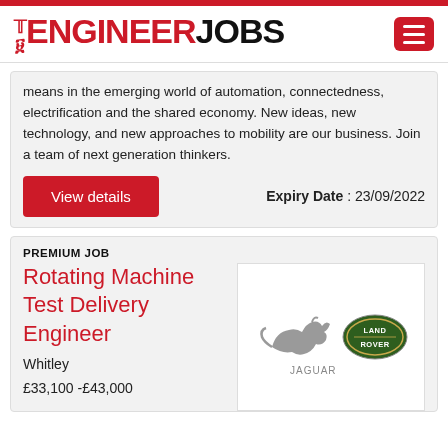THE ENGINEER JOBS
means in the emerging world of automation, connectedness, electrification and the shared economy. New ideas, new technology, and new approaches to mobility are our business. Join a team of next generation thinkers.
Expiry Date : 23/09/2022
View details
PREMIUM JOB
Rotating Machine Test Delivery Engineer
Whitley
£33,100 -£43,000
[Figure (logo): Jaguar Land Rover logo]